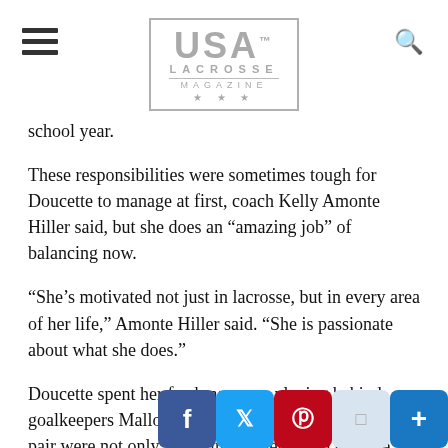USA LACROSSE MAGAZINE
school year.
These responsibilities were sometimes tough for Doucette to manage at first, coach Kelly Amonte Hiller said, but she does an “amazing job” of balancing now.
“She’s motivated not just in lacrosse, but in every area of her life,” Amonte Hiller said. “She is passionate about what she does.”
Doucette spent her freshman year playing behind goalkeepers Mallory Weisse and Julie Krupnick. The pair were not only “amazingly talented,” Doucette said, but also taught her about both the of the game. She said she learn…